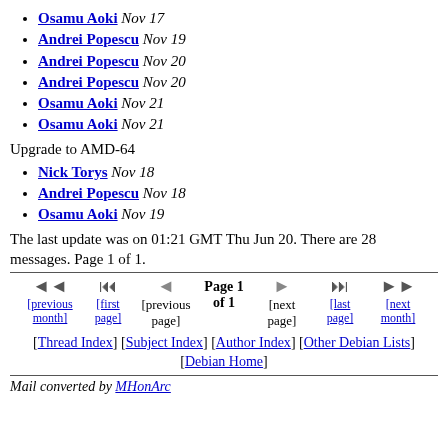Osamu Aoki Nov 17
Andrei Popescu Nov 19
Andrei Popescu Nov 20
Andrei Popescu Nov 20
Osamu Aoki Nov 21
Osamu Aoki Nov 21
Upgrade to AMD-64
Nick Torys Nov 18
Andrei Popescu Nov 18
Osamu Aoki Nov 19
The last update was on 01:21 GMT Thu Jun 20. There are 28 messages. Page 1 of 1.
Navigation: previous month, first page, previous page, Page 1 of 1, next page, last page, next month
[Thread Index] [Subject Index] [Author Index] [Other Debian Lists] [Debian Home]
Mail converted by MHonArc